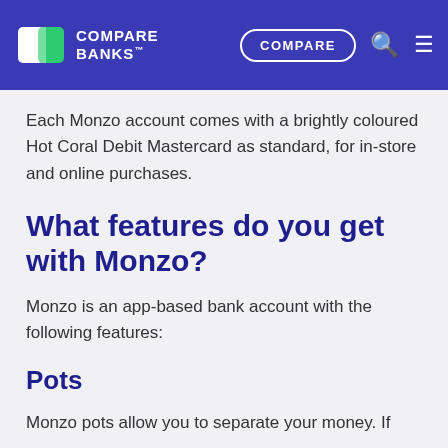COMPARE BANKS™
Each Monzo account comes with a brightly coloured Hot Coral Debit Mastercard as standard, for in-store and online purchases.
What features do you get with Monzo?
Monzo is an app-based bank account with the following features:
Pots
Monzo pots allow you to separate your money. If